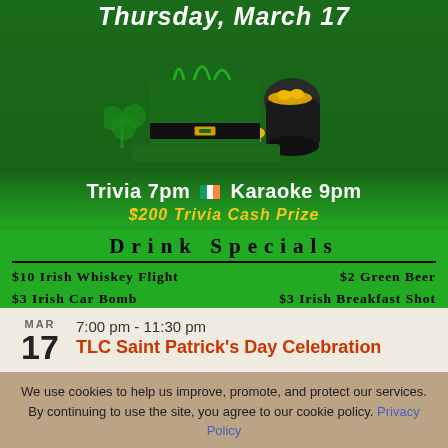[Figure (illustration): St. Patrick's Day event poster with green background, leprechaun hat, pot of gold, shamrocks, Irish flag, showing Trivia 7pm and Karaoke 9pm, $200 Trivia Cash Prize, and Drink Specials including $10 Irish Whiskey Flight, $2 Green Beer, $3 Irish Car Bomb, $3 Irish Breakfast Shot]
7:00 pm - 11:30 pm
TLC Saint Patrick's Day Celebration
We use cookies to help us improve, promote, and protect our services. By continuing to use the site, you agree to our cookie policy. Privacy Policy
OK